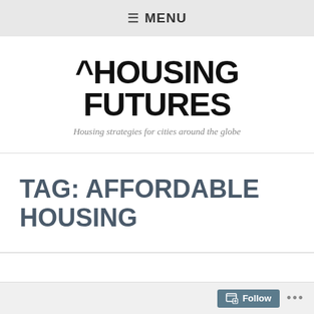≡ MENU
^HOUSING FUTURES
Housing strategies for cities around the globe
TAG: AFFORDABLE HOUSING
Follow ...